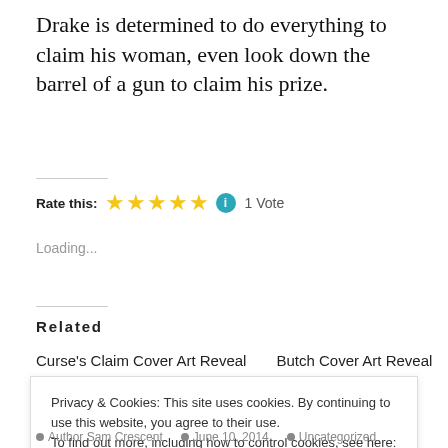Drake is determined to do everything to claim his woman, even look down the barrel of a gun to claim his prize.
Rate this: ★★★★★ ℹ 1 Vote
Loading...
Related
Curse's Claim Cover Art Reveal    Butch Cover Art Reveal
Privacy & Cookies: This site uses cookies. By continuing to use this website, you agree to their use.
To find out more, including how to control cookies, see here: Cookie Policy
Close and accept
Author Sam Crescent   June 10, 2014   Uncategorized